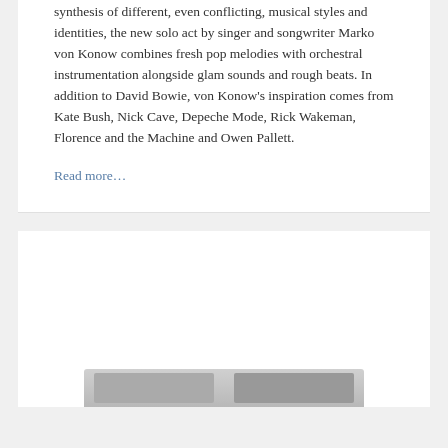synthesis of different, even conflicting, musical styles and identities, the new solo act by singer and songwriter Marko von Konow combines fresh pop melodies with orchestral instrumentation alongside glam sounds and rough beats. In addition to David Bowie, von Konow's inspiration comes from Kate Bush, Nick Cave, Depeche Mode, Rick Wakeman, Florence and the Machine and Owen Pallett.
Read more...
[Figure (photo): Bottom card section with partially visible image thumbnails at the bottom edge]